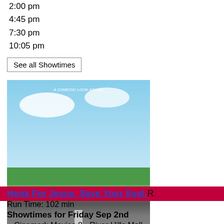2:00 pm
4:45 pm
7:30 pm
10:05 pm
See all Showtimes
[Figure (photo): Movie poster for Honk For Jesus. Save Your Soul. showing two people seated on ornate thrones on a road, with yellow title text.]
Honk For Jesus. Save Your Soul. R
Run Time: 102 min
Showtimes for Friday Sep 2nd
Cinemark Movies 8 - River Hills Mall
1:00 pm
4:00 pm
7:00 pm